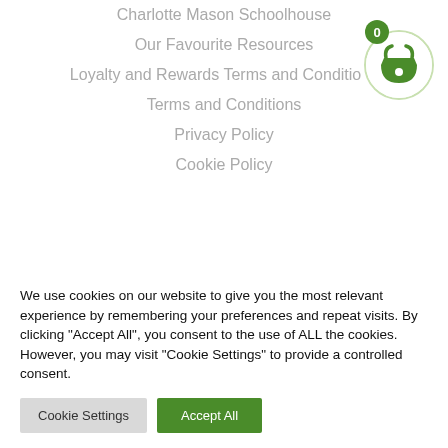Charlotte Mason Schoolhouse
Our Favourite Resources
Loyalty and Rewards Terms and Conditions
Terms and Conditions
Privacy Policy
Cookie Policy
[Figure (illustration): Green shopping basket icon inside a light green circle with a badge showing '0']
We use cookies on our website to give you the most relevant experience by remembering your preferences and repeat visits. By clicking "Accept All", you consent to the use of ALL the cookies. However, you may visit "Cookie Settings" to provide a controlled consent.
Cookie Settings | Accept All